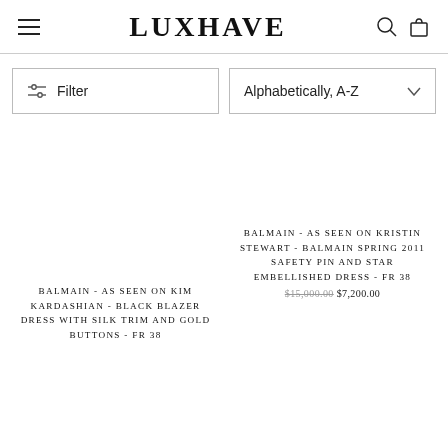LUXHAVE
Filter | Alphabetically, A-Z
BALMAIN - AS SEEN ON KIM KARDASHIAN - BLACK BLAZER DRESS WITH SILK TRIM AND GOLD BUTTONS - FR 38
BALMAIN - AS SEEN ON KRISTIN STEWART - BALMAIN SPRING 2011 SAFETY PIN AND STAR EMBELLISHED DRESS - FR 38
$15,000.00  $7,200.00